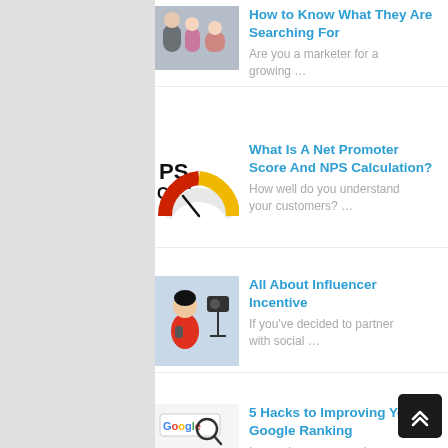[Figure (screenshot): Thumbnail of people in a meeting/office setting]
How to Know What They Are Searching For
Are you a marketer for a growing …
[Figure (screenshot): NPS gauge meter image with red and yellow arc showing NPS SCORE text]
What Is A Net Promoter Score And NPS Calculation?
How well do you understand your customers? …
[Figure (screenshot): Woman in red shirt holding phone in front of camera]
All About Influencer Incentive
If you've decided to partner with social …
[Figure (screenshot): Magnifying glass over Google logo on white background]
5 Hacks to Improving Your Google Ranking
Increasing your search engine ranking can feel …